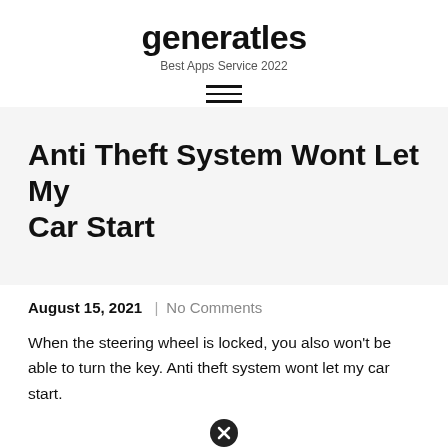generatles
Best Apps Service 2022
Anti Theft System Wont Let My Car Start
August 15, 2021  |  No Comments
When the steering wheel is locked, you also won't be able to turn the key. Anti theft system wont let my car start.